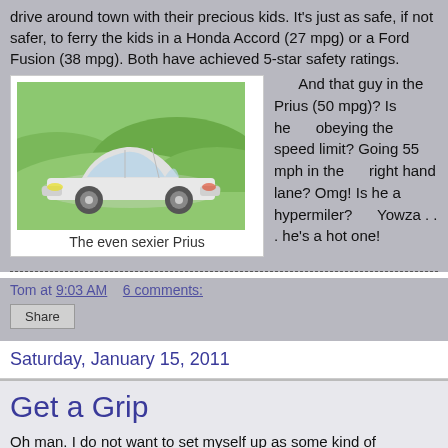drive around town with their precious kids. It's just as safe, if not safer, to ferry the kids in a Honda Accord (27 mpg) or a Ford Fusion (38 mpg). Both have achieved 5-star safety ratings.
[Figure (photo): White Toyota Prius car on green rolling hills background]
The even sexier Prius
And that guy in the Prius (50 mpg)? Is he obeying the speed limit? Going 55 mph in the right hand lane? Omg! Is he a hypermiler? Yowza . . . he's a hot one!
Tom at 9:03 AM    6 comments:
Share
Saturday, January 15, 2011
Get a Grip
Oh man. I do not want to set myself up as some kind of